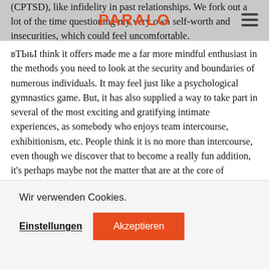PARALO (logo) with hamburger menu
(CPTSD), like infidelity in past relationships. We fork out a lot of the time questioning my very own self-worth and insecurities, which could feel uncomfortable.
вТЬњI think it offers made me a far more mindful enthusiast in the methods you need to look at the security and boundaries of numerous individuals. It may feel just like a psychological gymnastics game. But, it has also supplied a way to take part in several of the most exciting and gratifying intimate experiences, as somebody who enjoys team intercourse, exhibitionism, etc. People think it is no more than intercourse, even though we discover that to become a really fun addition, it's perhaps maybe not the matter that are at the core of polyamory for me personally.
Wir verwenden Cookies.
Einstellungen
Akzeptieren